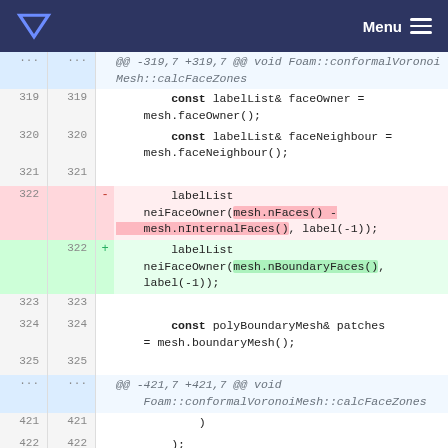Menu
Code diff view showing changes to Foam::conformalVoronoiMesh::calcFaceZones. Lines 319-325 and 421+ shown. Line 322 changed from labelList neiFaceOwner(mesh.nFaces() - mesh.nInternalFaces(), label(-1)); to labelList neiFaceOwner(mesh.nBoundaryFaces(), label(-1));